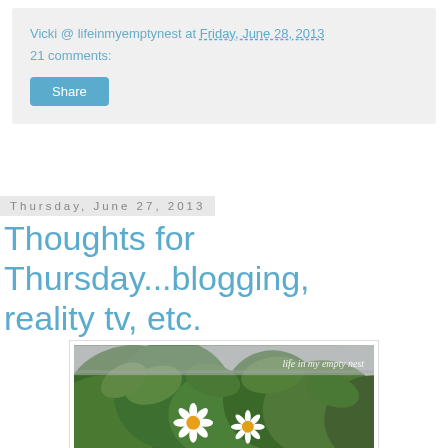Vicki @ lifeinmyemptynest at Friday, June 28, 2013
21 comments:
Share
Thursday, June 27, 2013
Thoughts for Thursday...blogging, reality tv, etc.
[Figure (photo): Photo of green leafy plants with white daisy flowers, watermarked with 'life in my empty nest' text in the upper right corner]